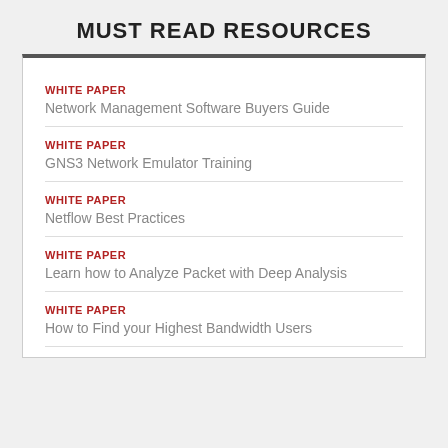MUST READ RESOURCES
WHITE PAPER
Network Management Software Buyers Guide
WHITE PAPER
GNS3 Network Emulator Training
WHITE PAPER
Netflow Best Practices
WHITE PAPER
Learn how to Analyze Packet with Deep Analysis
WHITE PAPER
How to Find your Highest Bandwidth Users